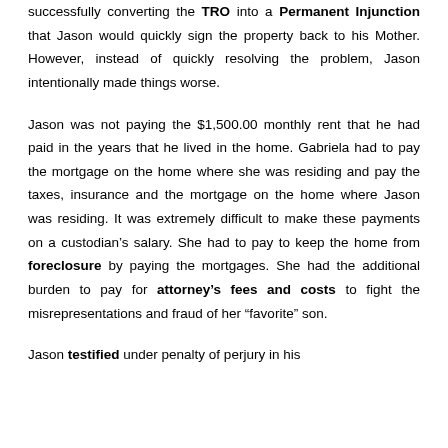successfully converting the TRO into a Permanent Injunction that Jason would quickly sign the property back to his Mother. However, instead of quickly resolving the problem, Jason intentionally made things worse.
Jason was not paying the $1,500.00 monthly rent that he had paid in the years that he lived in the home. Gabriela had to pay the mortgage on the home where she was residing and pay the taxes, insurance and the mortgage on the home where Jason was residing. It was extremely difficult to make these payments on a custodian's salary. She had to pay to keep the home from foreclosure by paying the mortgages. She had the additional burden to pay for attorney's fees and costs to fight the misrepresentations and fraud of her “favorite” son.
Jason testified under penalty of perjury in his